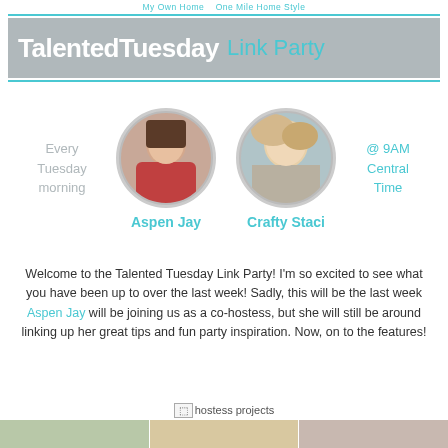My Own Home   One Mile Home Style
TalentedTuesday Link Party
[Figure (photo): Two circular portrait photos of co-hostesses Aspen Jay and Crafty Staci, with text 'Every Tuesday morning' on the left and '@ 9AM Central Time' on the right]
Aspen Jay
Crafty Staci
Welcome to the Talented Tuesday Link Party! I'm so excited to see what you have been up to over the last week! Sadly, this will be the last week Aspen Jay will be joining us as a co-hostess, but she will still be around linking up her great tips and fun party inspiration. Now, on to the features!
[Figure (photo): hostess projects image placeholder]
[Figure (photo): Bottom strip with three small thumbnail images]